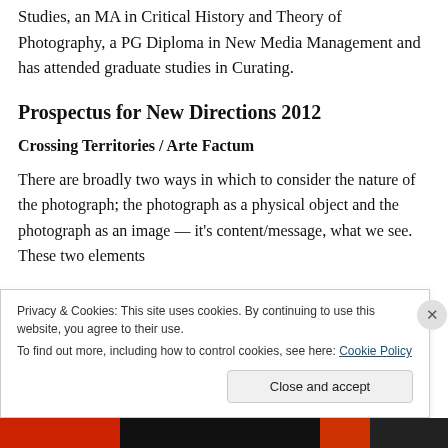Studies, an MA in Critical History and Theory of Photography, a PG Diploma in New Media Management and has attended graduate studies in Curating.
Prospectus for New Directions 2012
Crossing Territories / Arte Factum
There are broadly two ways in which to consider the nature of the photograph; the photograph as a physical object and the photograph as an image — it's content/message, what we see. These two elements
Privacy & Cookies: This site uses cookies. By continuing to use this website, you agree to their use.
To find out more, including how to control cookies, see here: Cookie Policy
Close and accept